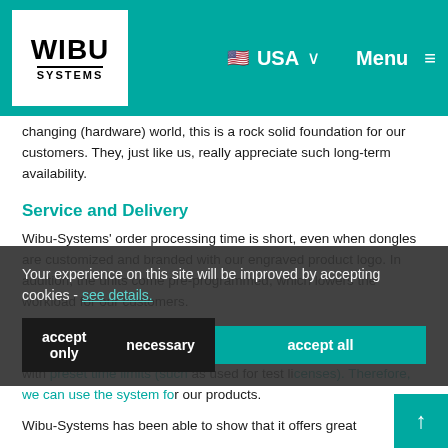[Figure (screenshot): Wibu-Systems website navigation bar with logo, USA flag/dropdown, Menu button and hamburger icon on teal background]
changing (hardware) world, this is a rock solid foundation for our customers. They, just like us, really appreciate such long-term availability.
Service and Delivery
Wibu-Systems’ order processing time is short, even when dongles are customized and branded with our engraved product logo. In addition, the units come pre-programmed, which lowers the workload for our customers.
We use different types of solutions. For example, network dongles, where a single dongle contains a number of licenses, or dongles with preset time limits (such as used for test licenses). Therefore, we can use the system for our products.
Wibu-Systems has been able to show that it offers great
Your experience on this site will be improved by accepting cookies - see details.
accept only
necessary
accept all